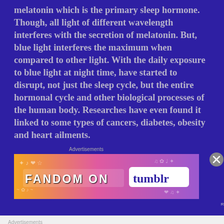melatonin which is the primary sleep hormone. Though, all light of different wavelength interferes with the secretion of melatonin. But, blue light interferes the maximum when compared to other light. With the daily exposure to blue light at night time, have started to disrupt, not just the sleep cycle, but the entire hormonal cycle and other biological processes of the human body. Researches have even found it linked to some types of cancers, diabetes, obesity and heart ailments.
[Figure (other): Tumblr Fandom advertisement banner with orange-to-purple gradient background and music/doodle decorations. Text reads FANDOM ON tumblr.]
[Figure (other): Pressable WordPress advertisement. Text: The Platform Where WordPress Works Best. Pressable logo on right.]